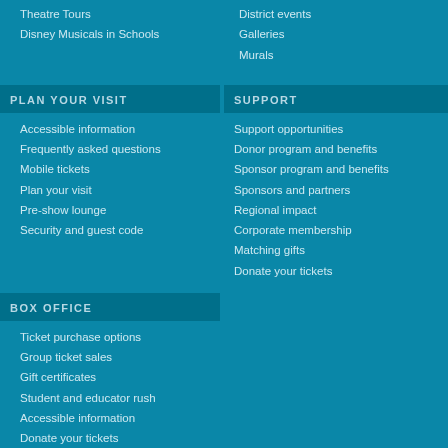Theatre Tours
Disney Musicals in Schools
District events
Galleries
Murals
PLAN YOUR VISIT
SUPPORT
Accessible information
Frequently asked questions
Mobile tickets
Plan your visit
Pre-show lounge
Security and guest code
Support opportunities
Donor program and benefits
Sponsor program and benefits
Sponsors and partners
Regional impact
Corporate membership
Matching gifts
Donate your tickets
BOX OFFICE
Ticket purchase options
Group ticket sales
Gift certificates
Student and educator rush
Accessible information
Donate your tickets